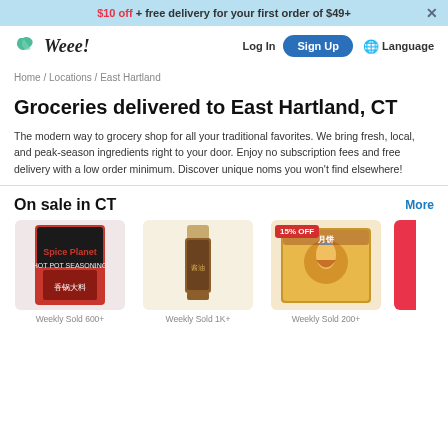$10 off + free delivery for your first order of $49+
[Figure (logo): Weee! grocery delivery logo with green leaf icon]
Home / Locations / East Hartland
Groceries delivered to East Hartland, CT
The modern way to grocery shop for all your traditional favorites. We bring fresh, local, and peak-season ingredients right to your door. Enjoy no subscription fees and free delivery with a low order minimum. Discover unique noms you won't find elsewhere!
On sale in CT
[Figure (photo): Product card: spice/hot pot seasoning bag, Weekly Sold 600+]
[Figure (photo): Product card: soy sauce bottle, Weekly Sold 1K+]
[Figure (photo): Product card: mooncake box with 15% OFF badge, Weekly Sold 200+]